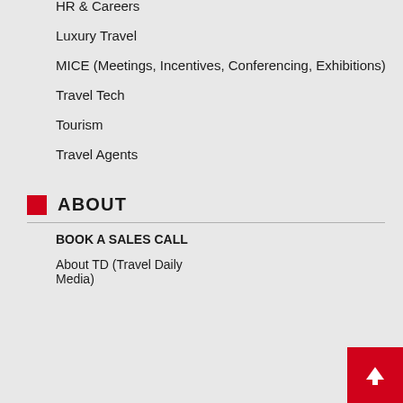HR & Careers
Luxury Travel
MICE (Meetings, Incentives, Conferencing, Exhibitions)
Travel Tech
Tourism
Travel Agents
ABOUT
BOOK A SALES CALL
About TD (Travel Daily Media)
Advertise with Us